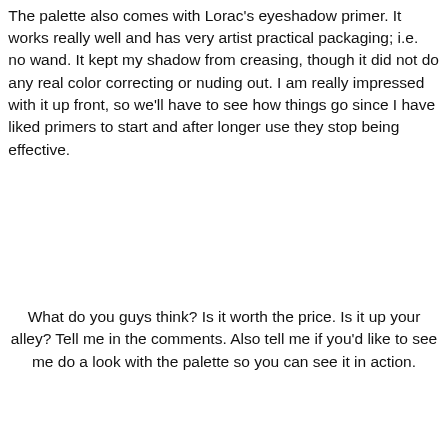The palette also comes with Lorac's eyeshadow primer. It works really well and has very artist practical packaging; i.e. no wand. It kept my shadow from creasing, though it did not do any real color correcting or nuding out. I am really impressed with it up front, so we'll have to see how things go since I have liked primers to start and after longer use they stop being effective.
What do you guys think? Is it worth the price. Is it up your alley? Tell me in the comments. Also tell me if you'd like to see me do a look with the palette so you can see it in action.
xoxo,
Amanda
Unknown at 9:00 AM
Share